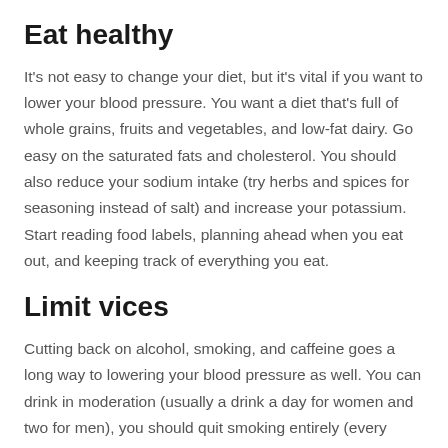Eat healthy
It's not easy to change your diet, but it's vital if you want to lower your blood pressure. You want a diet that's full of whole grains, fruits and vegetables, and low-fat dairy. Go easy on the saturated fats and cholesterol. You should also reduce your sodium intake (try herbs and spices for seasoning instead of salt) and increase your potassium. Start reading food labels, planning ahead when you eat out, and keeping track of everything you eat.
Limit vices
Cutting back on alcohol, smoking, and caffeine goes a long way to lowering your blood pressure as well. You can drink in moderation (usually a drink a day for women and two for men), you should quit smoking entirely (every cigarette increases your blood pressure), and you can experiment